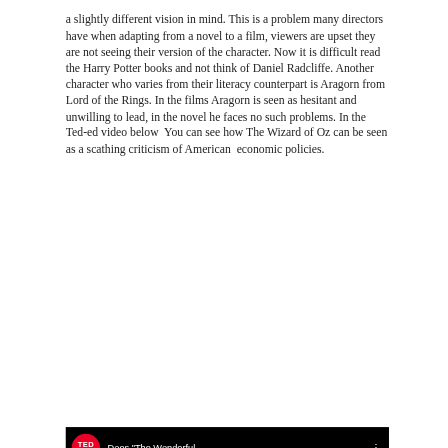a slightly different vision in mind. This is a problem many directors have when adapting from a novel to a film, viewers are upset they are not seeing their version of the character. Now it is difficult read the Harry Potter books and not think of Daniel Radcliffe. Another character who varies from their literacy counterpart is Aragorn from Lord of the Rings. In the films Aragorn is seen as hesitant and unwilling to lead, in the novel he faces no such problems. In the Ted-ed video below  You can see how The Wizard of Oz can be seen as a scathing criticism of American  economic policies.
[Figure (screenshot): TED video thumbnail showing black background with red TED logo circle on left and text 'Does "The Wonderful' in white, with a three-dot menu icon on the right.]